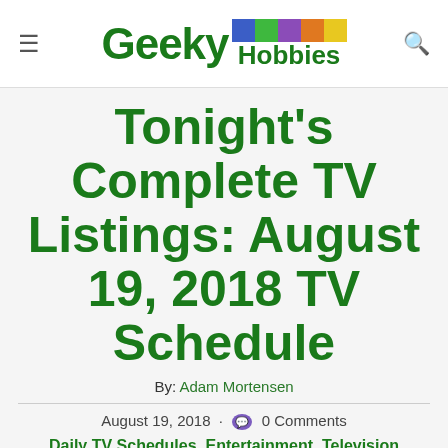Geeky Hobbies
Tonight's Complete TV Listings: August 19, 2018 TV Schedule
By: Adam Mortensen
August 19, 2018 · 0 Comments
Daily TV Schedules, Entertainment, Television